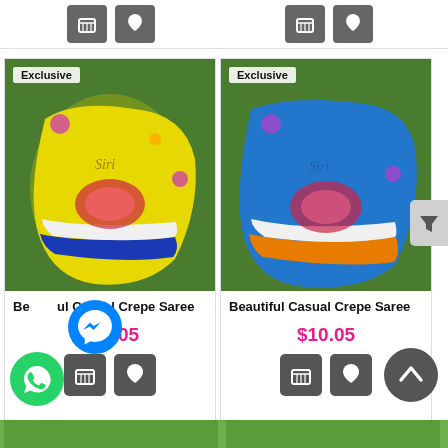[Figure (screenshot): Top strip showing two partially visible product cards with cart and heart buttons]
[Figure (photo): Yellow saree folded on green grass background with Exclusive badge]
Beautiful Casual Crepe Saree
$10.05
[Figure (photo): Blue saree folded on green grass background with Exclusive badge]
Beautiful Casual Crepe Saree
$10.05
[Figure (photo): Bottom green strip showing partial product cards]